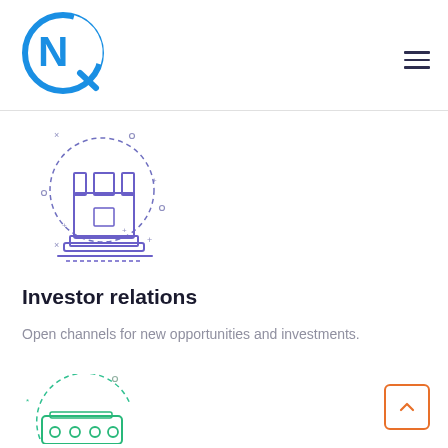Safeguard your business via strong bureaucratic
[Figure (logo): Blue circular NQ logo]
[Figure (illustration): Chess rook piece icon with dashed circle decorations, purple/blue outline style]
Investor relations
Open channels for new opportunities and investments.
[Figure (illustration): Green robot/machine icon with dashed circle, partially visible at bottom]
[Figure (other): Back to top button — orange rounded square with up chevron]